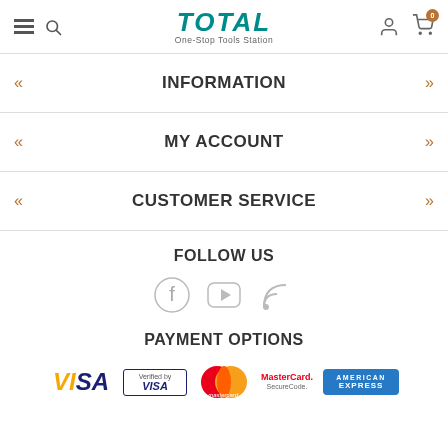TOTAL One-Stop Tools Station — navigation header with menu, search, user, cart icons
INFORMATION
MY ACCOUNT
CUSTOMER SERVICE
FOLLOW US
[Figure (illustration): Social media icons: Facebook, YouTube, RSS feed]
PAYMENT OPTIONS
[Figure (illustration): Payment logos: VISA, Verified by VISA, Mastercard, MasterCard SecureCode, American Express]